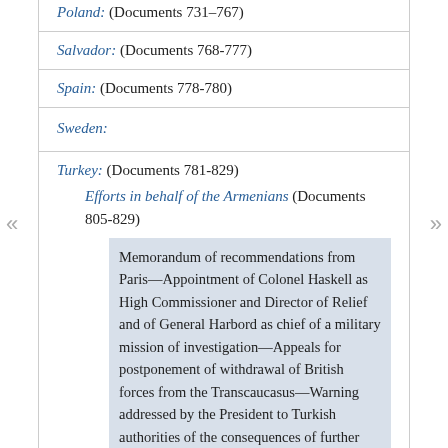Poland: (Documents 731–767)
Salvador: (Documents 768-777)
Spain: (Documents 778-780)
Sweden:
Turkey: (Documents 781-829)
Efforts in behalf of the Armenians (Documents 805-829)
Memorandum of recommendations from Paris—Appointment of Colonel Haskell as High Commissioner and Director of Relief and of General Harbord as chief of a military mission of investigation—Appeals for postponement of withdrawal of British forces from the Transcaucasus—Warning addressed by the President to Turkish authorities of the consequences of further massacres, August 16,